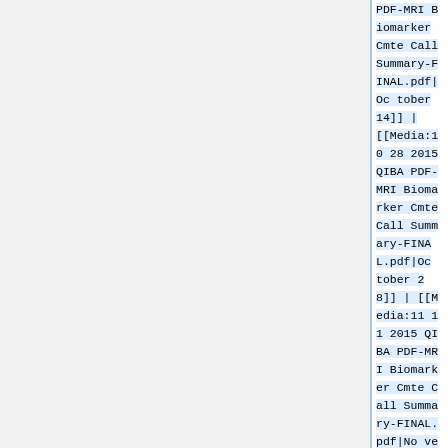PDF-MRI Biomarker Cmte Call Summary-FINAL.pdf|October 14]] | [[Media:1028 2015 QIBA PDF-MRI Biomarker Cmte Call Summary-FINAL.pdf|October 28]] | [[Media:1111 2015 QIBA PDF-MRI Biomarker Cmte Call Summary-FINAL.pdf|November 11]]